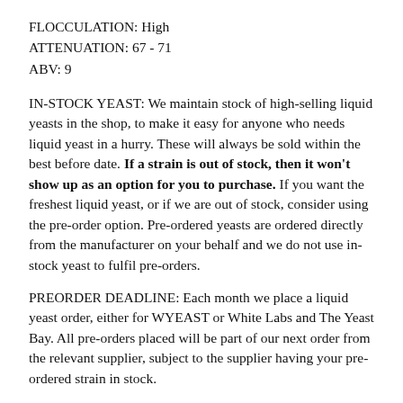FLOCCULATION: High
ATTENUATION: 67 - 71
ABV: 9
IN-STOCK YEAST: We maintain stock of high-selling liquid yeasts in the shop, to make it easy for anyone who needs liquid yeast in a hurry. These will always be sold within the best before date. If a strain is out of stock, then it won't show up as an option for you to purchase. If you want the freshest liquid yeast, or if we are out of stock, consider using the pre-order option. Pre-ordered yeasts are ordered directly from the manufacturer on your behalf and we do not use in-stock yeast to fulfil pre-orders.
PREORDER DEADLINE: Each month we place a liquid yeast order, either for WYEAST or White Labs and The Yeast Bay. All pre-orders placed will be part of our next order from the relevant supplier, subject to the supplier having your pre-ordered strain in stock.
We place our orders on or after the 20th of the month. The